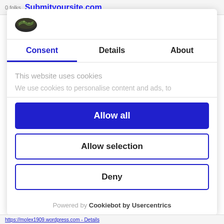0 folks   Submityoursite.com
[Figure (logo): Cookie/wafer logo icon in dark green/black oval shape]
Consent | Details | About
This website uses cookies
We use cookies to personalise content and ads, to
Allow all
Allow selection
Deny
Powered by Cookiebot by Usercentrics
https://molex1909.wordpress.com - Details